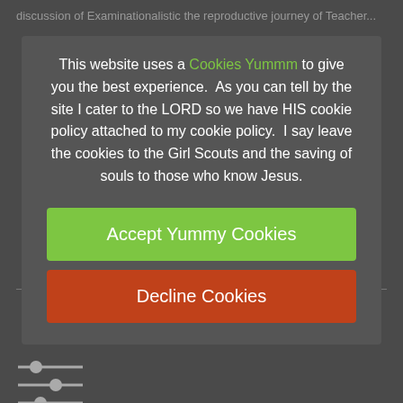discussion of Examinationalistic the reproductive journey of Teacher...
[Figure (screenshot): Cookie consent overlay dialog with green 'Accept Yummy Cookies' button and red 'Decline Cookies' button on a dark grey background. The overlay text reads: 'This website uses a Cookies Yummm to give you the best experience. As you can tell by the site I cater to the LORD so we have HIS cookie policy attached to my cookie policy. I say leave the cookies to the Girl Scouts and the saving of souls to those who know Jesus.']
John Nelson Darby
he believed the pre-tribulation rapture theology, and like John Bunyan, showing us what we are escaping, God reviews the first 8001 (John 15:1-22
John Paul II